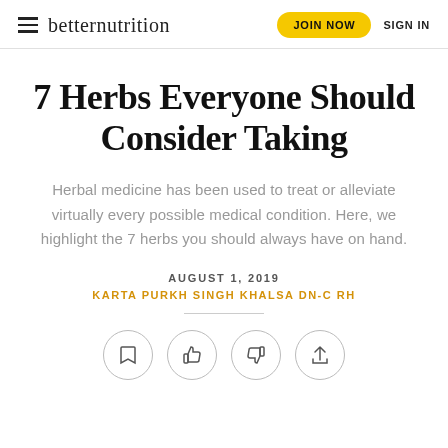betternutrition | JOIN NOW | SIGN IN
7 Herbs Everyone Should Consider Taking
Herbal medicine has been used to treat or alleviate virtually every possible medical condition. Here, we highlight the 7 herbs you should always have on hand.
AUGUST 1, 2019
KARTA PURKH SINGH KHALSA DN-C RH
[Figure (other): Four circular icon buttons: bookmark, thumbs up, thumbs down, share]